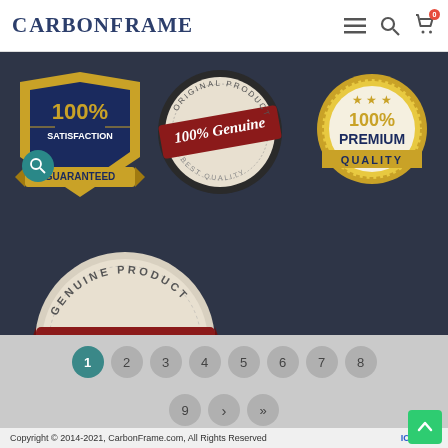CarbonFrame
[Figure (logo): CarbonFrame website header with logo, hamburger menu, search icon, and cart icon with 0 badge]
[Figure (infographic): Three quality assurance badges: '100% Satisfaction Guaranteed' shield badge, '100% Genuine Original Products Best Quality' stamp badge, '100% Premium Quality' gold coin badge]
[Figure (infographic): Genuine Product Approved stamp/seal badge with red ribbon]
1
2
3
4
5
6
7
8
9
>
>|
Copyright © 2014-2021, CarbonFrame.com, All Rights Reserved
ICP 2021